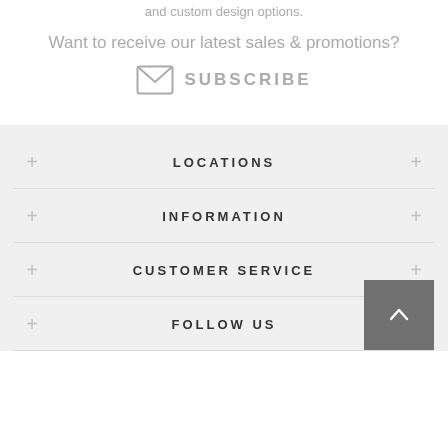and custom design options.
Want to receive our latest sales & promotions?
SUBSCRIBE
LOCATIONS
INFORMATION
CUSTOMER SERVICE
FOLLOW US